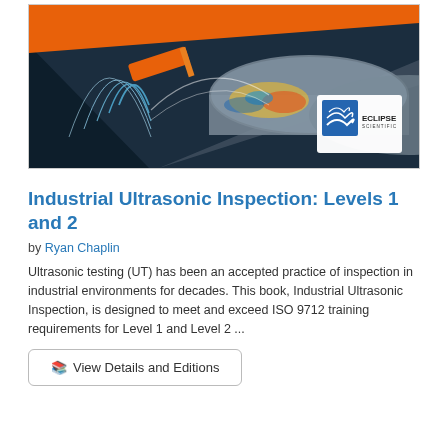[Figure (illustration): Book cover of Industrial Ultrasonic Inspection: Levels 1 and 2, showing a 3D cutaway diagram of ultrasonic testing on a pipe or tube with blue wave patterns, orange highlights, and the Eclipse Scientific logo in the bottom right.]
Industrial Ultrasonic Inspection: Levels 1 and 2
by Ryan Chaplin
Ultrasonic testing (UT) has been an accepted practice of inspection in industrial environments for decades. This book, Industrial Ultrasonic Inspection, is designed to meet and exceed ISO 9712 training requirements for Level 1 and Level 2 ...
View Details and Editions